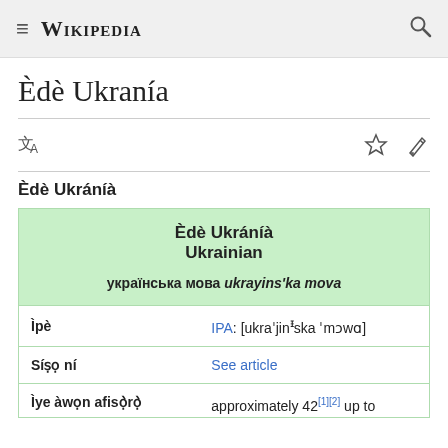≡ Wikipedia 🔍
Èdè Ukranía
Èdè Ukráníà
| Èdè Ukráníà
Ukrainian
українська мова ukrayins'ka mova |
| Ìpè | IPA: [ukraˈjinᵻska ˈmɔwɑ] |
| Síṣọ ní | See article |
| Ìye àwọn afisọ̀rọ̀ | approximately 42[1][2] up to |